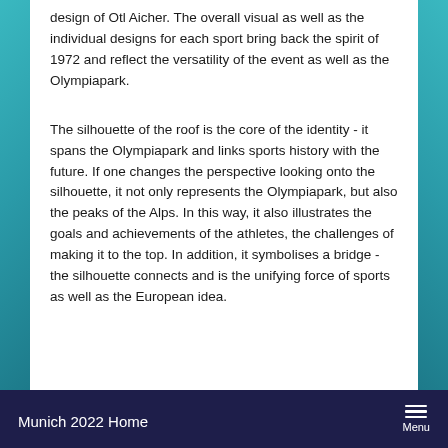design of Otl Aicher. The overall visual as well as the individual designs for each sport bring back the spirit of 1972 and reflect the versatility of the event as well as the Olympiapark.
The silhouette of the roof is the core of the identity - it spans the Olympiapark and links sports history with the future. If one changes the perspective looking onto the silhouette, it not only represents the Olympiapark, but also the peaks of the Alps. In this way, it also illustrates the goals and achievements of the athletes, the challenges of making it to the top. In addition, it symbolises a bridge - the silhouette connects and is the unifying force of sports as well as the European idea.
Munich 2022 Home  Menu